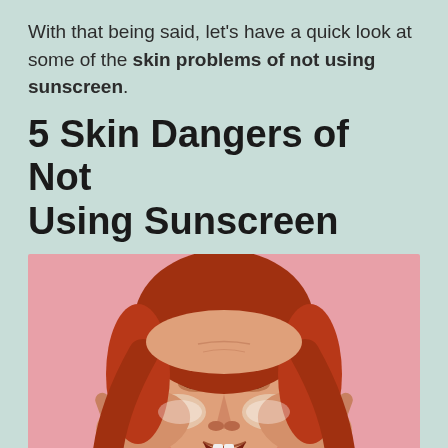With that being said, let's have a quick look at some of the skin problems of not using sunscreen.
5 Skin Dangers of Not Using Sunscreen
[Figure (photo): A woman with red hair and closed eyes, grimacing and pressing both hands to her face against a pink background, suggesting skin distress or irritation.]